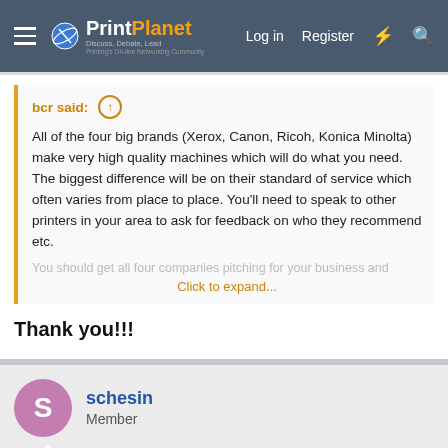PrintPlanet - Discuss, Debate, Lead - Printing's On-line Networking Community
bcr said:
All of the four big brands (Xerox, Canon, Ricoh, Konica Minolta) make very high quality machines which will do what you need. The biggest difference will be on their standard of service which often varies from place to place. You'll need to speak to other printers in your area to ask for feedback on who they recommend etc.
You should get all four companies pitching for your business and
Click to expand...
Thank you!!!
schesin
Member
Jul 22, 2021
#9
pippip said: